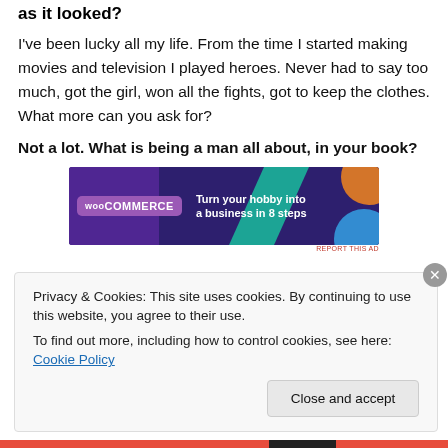as it looked?
I've been lucky all my life. From the time I started making movies and television I played heroes. Never had to say too much, got the girl, won all the fights, got to keep the clothes. What more can you ask for?
Not a lot. What is being a man all about, in your book?
[Figure (screenshot): WooCommerce advertisement banner: 'Turn your hobby into a business in 8 steps' on a dark purple background with colorful geometric shapes]
REPORT THIS AD
Privacy & Cookies: This site uses cookies. By continuing to use this website, you agree to their use.
To find out more, including how to control cookies, see here: Cookie Policy